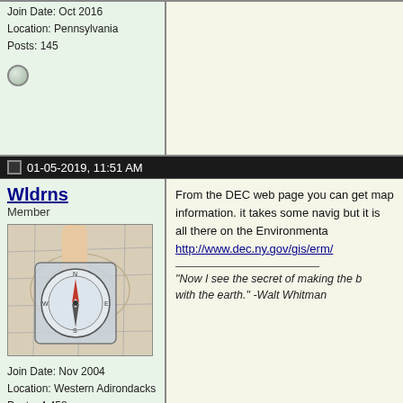Join Date: Oct 2016
Location: Pennsylvania
Posts: 145
01-05-2019, 11:51 AM
Wldrns
Member
Join Date: Nov 2004
Location: Western Adirondacks
Posts: 4,458
From the DEC web page you can get map information. it takes some navig but it is all there on the Environmenta http://www.dec.ny.gov/gis/erm/

"Now I see the secret of making the b with the earth." -Walt Whitman
01-05-2019, 12:01 PM
Stillhunter
Member
I have the annual subscription for $29 southern tier this year. I look for signs waypoints, can save maps in case ce